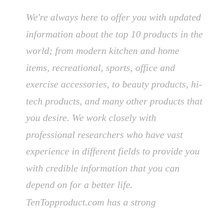We're always here to offer you with updated information about the top 10 products in the world; from modern kitchen and home items, recreational, sports, office and exercise accessories, to beauty products, hi-tech products, and many other products that you desire. We work closely with professional researchers who have vast experience in different fields to provide you with credible information that you can depend on for a better life.
TenTopproduct.com has a strong